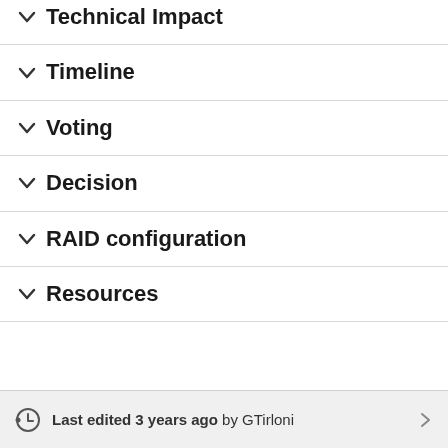Technical Impact
Timeline
Voting
Decision
RAID configuration
Resources
Last edited 3 years ago by GTirloni